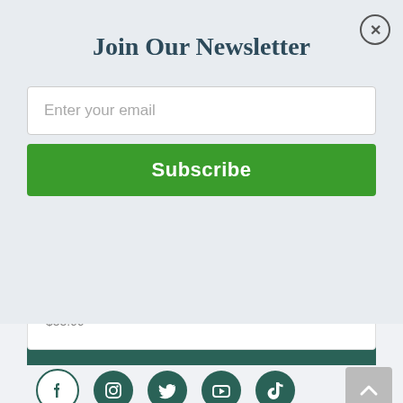Join Our Newsletter
Enter your email
Subscribe
Digital Audiobook (My Must Reads)
e-Book (My Must Reads)
Hardcover (July 13th, 2021): $26.00
Library Binding, Large Print (August 3rd, 2021): $33.99
FOLLOW US
[Figure (infographic): Social media icons: Facebook (outline), Instagram (filled), Twitter (filled), YouTube (filled), TikTok (filled)]